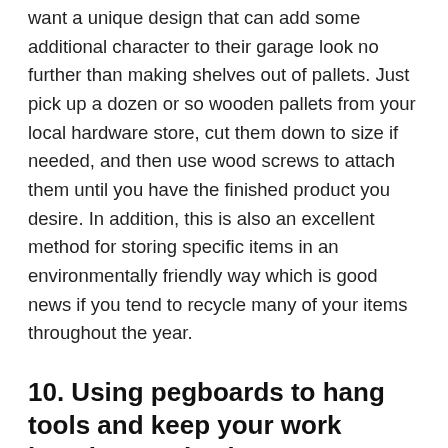want a unique design that can add some additional character to their garage look no further than making shelves out of pallets. Just pick up a dozen or so wooden pallets from your local hardware store, cut them down to size if needed, and then use wood screws to attach them until you have the finished product you desire. In addition, this is also an excellent method for storing specific items in an environmentally friendly way which is good news if you tend to recycle many of your items throughout the year.
10. Using pegboards to hang tools and keep your work bench organized
Another great way to utilize the walls of your garage is by using peg boards as either a place to store your tools or